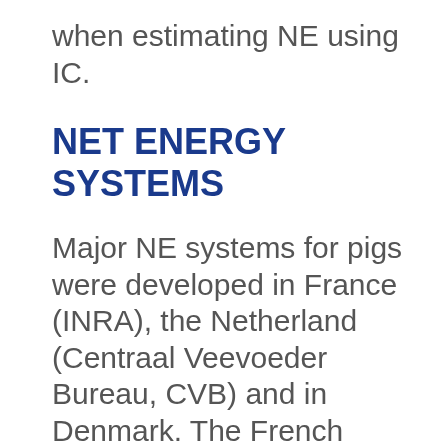when estimating NE using IC.
NET ENERGY SYSTEMS
Major NE systems for pigs were developed in France (INRA), the Netherland (Centraal Veevoeder Bureau, CVB) and in Denmark. The French